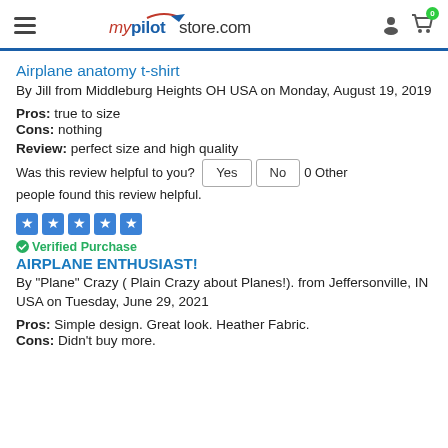mypilotstore.com
Airplane anatomy t-shirt
By Jill from Middleburg Heights OH USA on Monday, August 19, 2019
Pros: true to size
Cons: nothing
Review: perfect size and high quality
Was this review helpful to you? Yes No 0 Other people found this review helpful.
[Figure (other): Five blue star rating boxes]
Verified Purchase
AIRPLANE ENTHUSIAST!
By "Plane" Crazy ( Plain Crazy about Planes!). from Jeffersonville, IN USA on Tuesday, June 29, 2021
Pros: Simple design. Great look. Heather Fabric.
Cons: Didn't buy more.